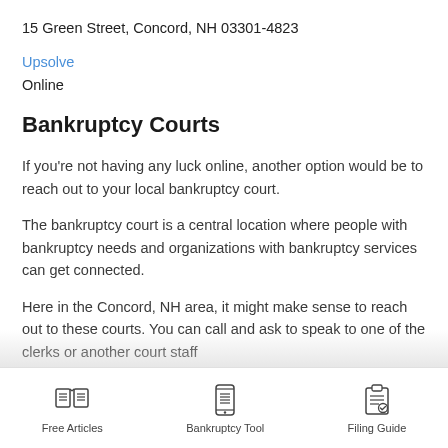15 Green Street, Concord, NH 03301-4823
Upsolve
Online
Bankruptcy Courts
If you're not having any luck online, another option would be to reach out to your local bankruptcy court.
The bankruptcy court is a central location where people with bankruptcy needs and organizations with bankruptcy services can get connected.
Here in the Concord, NH area, it might make sense to reach out to these courts. You can call and ask to speak to one of the clerks or another court staff
[Figure (other): Bottom navigation bar with three icons: Free Articles (open book icon), Bankruptcy Tool (smartphone icon), Filing Guide (clipboard icon)]